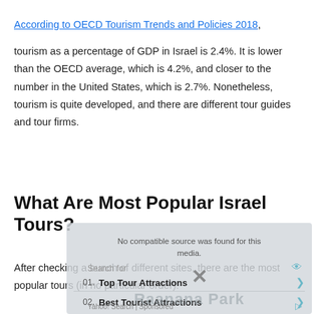According to OECD Tourism Trends and Policies 2018, tourism as a percentage of GDP in Israel is 2.4%. It is lower than the OECD average, which is 4.2%, and closer to the number in the United States, which is 2.7%. Nonetheless, tourism is quite developed, and there are different tour guides and tour firms.
What Are Most Popular Israel Tours?
After checking a bunch of different sites, there are the most popular tours (in no particular order):
[Figure (other): A semi-transparent ad overlay showing 'No compatible source was found for this media.' with a Yahoo! Search sponsored panel listing '01. Top Tour Attractions' and '02. Best Tourist Attractions', an X close button, and a watermark reading 'Raanana Park'.]